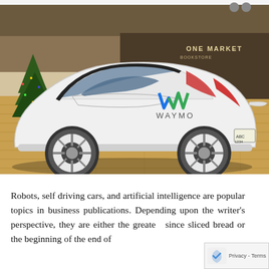[Figure (photo): A white Waymo self-driving car displayed indoors on a wooden floor. The small rounded vehicle has a green and blue Waymo logo on its side and 'WAYMO' text. A Christmas tree and 'ONE MARKET' signage are visible in the background.]
Robots, self driving cars, and artificial intelligence are popular topics in business publications. Depending upon the writer's perspective, they are either the greatest since sliced bread or the beginning of the end of existence. One of the clearest areas of change life is...